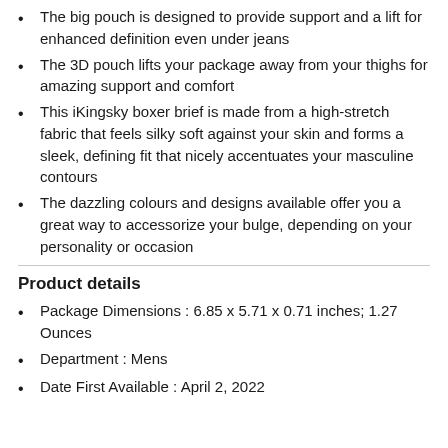The big pouch is designed to provide support and a lift for enhanced definition even under jeans
The 3D pouch lifts your package away from your thighs for amazing support and comfort
This iKingsky boxer brief is made from a high-stretch fabric that feels silky soft against your skin and forms a sleek, defining fit that nicely accentuates your masculine contours
The dazzling colours and designs available offer you a great way to accessorize your bulge, depending on your personality or occasion
Product details
Package Dimensions : 6.85 x 5.71 x 0.71 inches; 1.27 Ounces
Department : Mens
Date First Available : April 2, 2022